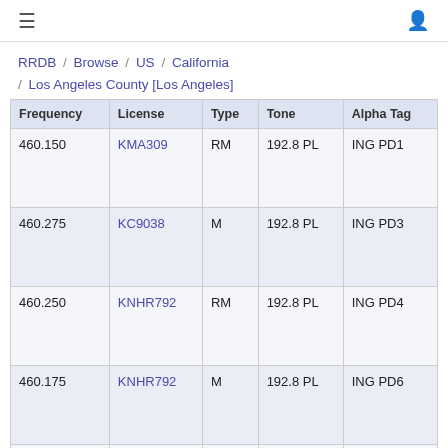≡  (user icon)
RRDB / Browse / US / California / Los Angeles County [Los Angeles]
| Frequency | License | Type | Tone | Alpha Tag |
| --- | --- | --- | --- | --- |
| 460.150 | KMA309 | RM | 192.8 PL | ING PD1 |
| 460.275 | KC9038 | M | 192.8 PL | ING PD3 |
| 460.250 | KNHR792 | RM | 192.8 PL | ING PD4 |
| 460.175 | KNHR792 | M | 192.8 PL | ING PD6 |
| 460.325 | KNHR792 | RM | 192.8 PL | ING PD7 |